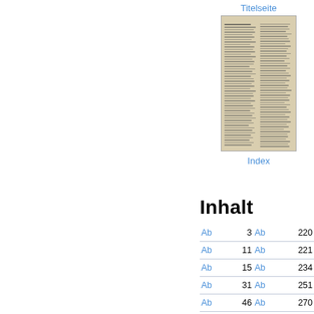Titelseite
[Figure (photo): Thumbnail of an old printed document page (Titelseite), showing two columns of dense historical text in an aged, yellowed style.]
Index
Inhalt
|  |  |  |  |
| --- | --- | --- | --- |
| Ab | 3 | Ab | 220 |
| Ab | 11 | Ab | 221 |
| Ab | 15 | Ab | 234 |
| Ab | 31 | Ab | 251 |
| Ab | 46 | Ab | 270 |
| Ab | 47 | Ab | 274 |
| Ab | 52 | Ab | 301 |